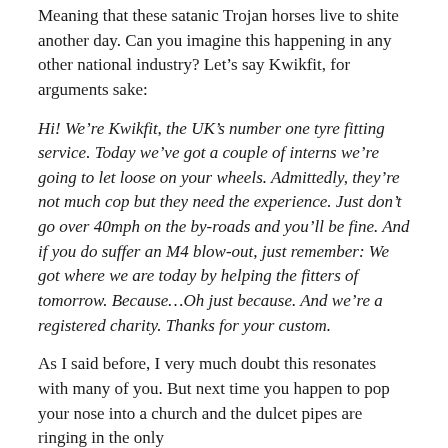Meaning that these satanic Trojan horses live to shite another day. Can you imagine this happening in any other national industry? Let’s say Kwikfit, for arguments sake:
Hi! We’re Kwikfit, the UK’s number one tyre fitting service. Today we’ve got a couple of interns we’re going to let loose on your wheels. Admittedly, they’re not much cop but they need the experience. Just don’t go over 40mph on the by-roads and you’ll be fine. And if you do suffer an M4 blow-out, just remember: We got where we are today by helping the fitters of tomorrow. Because…Oh just because. And we’re a registered charity. Thanks for your custom.
As I said before, I very much doubt this resonates with many of you. But next time you happen to pop your nose into a church and the dulcet pipes are ringing in the only